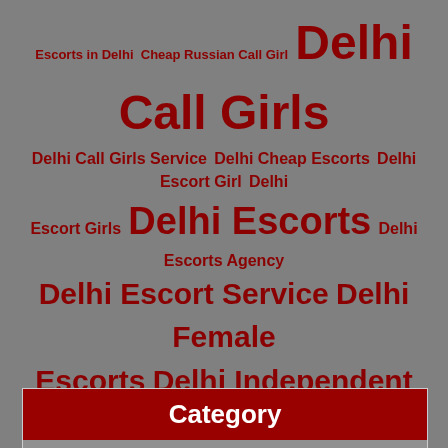[Figure (infographic): Tag cloud with dark red text on grey background containing escort-related keyword tags of varying sizes]
Category
Call Girls
Escort Service
Escorts